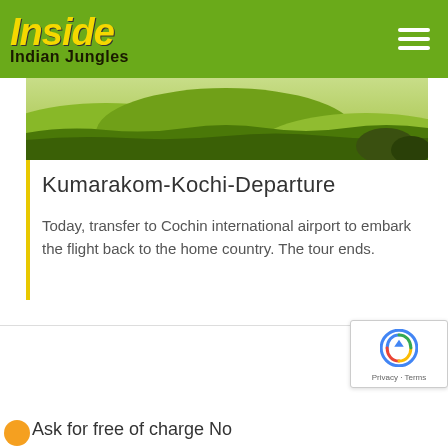Inside Indian Jungles
[Figure (photo): Tea plantation hills landscape photo strip]
Kumarakom-Kochi-Departure
Today, transfer to Cochin international airport to embark the flight back to the home country. The tour ends.
[Figure (other): reCAPTCHA badge with Privacy and Terms links]
Ask for free of charge No